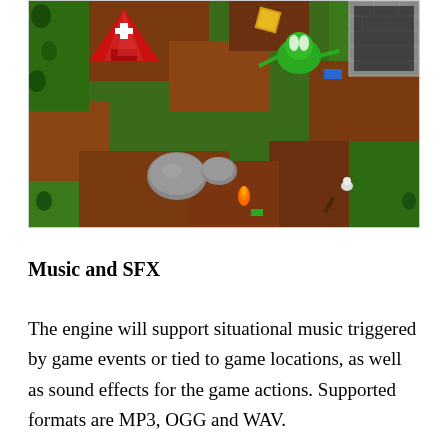[Figure (screenshot): Top-down RPG game screenshot showing a green and brown tile-based map with various game characters, objects including a red tent, rocks, green creatures, and a stone wall structure in the upper right corner.]
Music and SFX
The engine will support situational music triggered by game events or tied to game locations, as well as sound effects for the game actions. Supported formats are MP3, OGG and WAV.